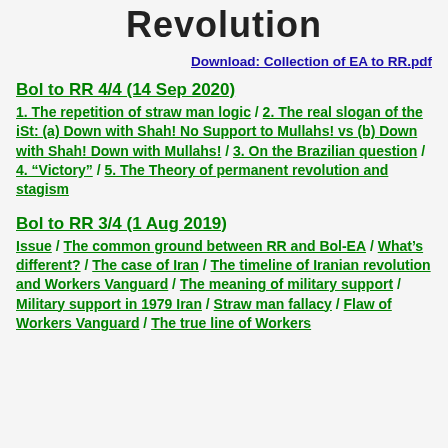Revolution
Download: Collection of EA to RR.pdf
Bol to RR 4/4 (14 Sep 2020)
1. The repetition of straw man logic / 2. The real slogan of the iSt: (a) Down with Shah! No Support to Mullahs! vs (b) Down with Shah! Down with Mullahs! / 3. On the Brazilian question / 4. “Victory” / 5. The Theory of permanent revolution and stagism
Bol to RR 3/4 (1 Aug 2019)
Issue / The common ground between RR and Bol-EA / What’s different? / The case of Iran / The timeline of Iranian revolution and Workers Vanguard / The meaning of military support / Military support in 1979 Iran / Straw man fallacy / Flaw of Workers Vanguard / The true line of Workers